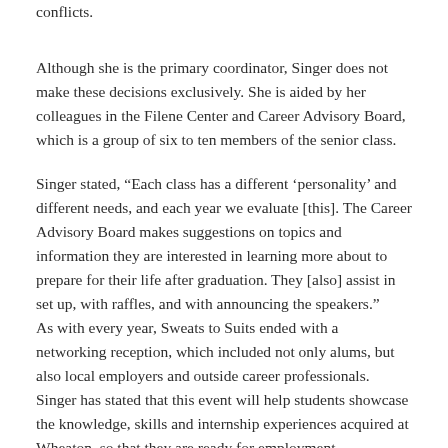conflicts.
Although she is the primary coordinator, Singer does not make these decisions exclusively. She is aided by her colleagues in the Filene Center and Career Advisory Board, which is a group of six to ten members of the senior class.
Singer stated, “Each class has a different ‘personality’ and different needs, and each year we evaluate [this]. The Career Advisory Board makes suggestions on topics and information they are interested in learning more about to prepare for their life after graduation. They [also] assist in set up, with raffles, and with announcing the speakers.”
As with every year, Sweats to Suits ended with a networking reception, which included not only alums, but also local employers and outside career professionals. Singer has stated that this event will help students showcase the knowledge, skills and internship experiences acquired at Wheaton, so that they are ready for employment opportunities in this challenging job market.